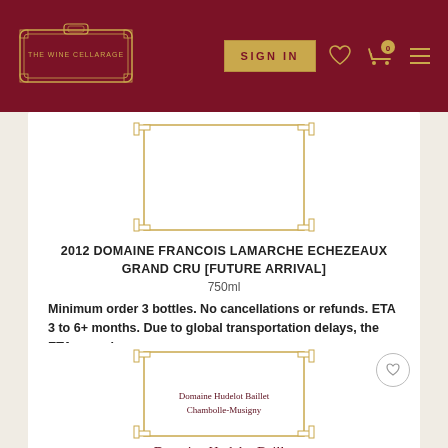The Wine Cellarage — SIGN IN
[Figure (other): Wine bottle placeholder image with decorative gold border frame]
2012 DOMAINE FRANCOIS LAMARCHE ECHEZEAUX GRAND CRU [FUTURE ARRIVAL]
750ml
Minimum order 3 bottles. No cancellations or refunds. ETA 3 to 6+ months. Due to global transportation delays, the ETA may change.
$418.00   3 Available
ADD TO CART
[Figure (other): Wine bottle placeholder image with decorative gold border frame for Domaine Hudelot Baillet Chambolle-Musigny]
Domaine Hudelot Baillet Chambolle-Musigny